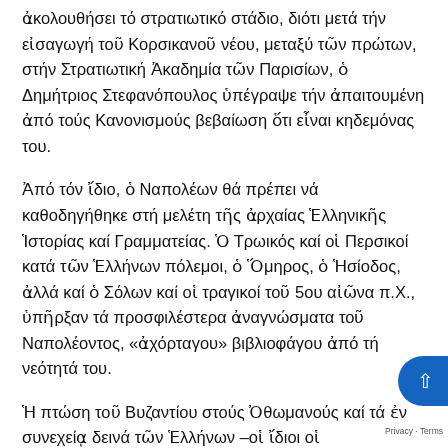ἀκολουθήσει τό στρατιωτικό στάδιο, διότι μετά τήν εἰσαγωγή τοῦ Κορσικανοῦ νέου, μεταξύ τῶν πρώτων, στήν Στρατιωτική Ἀκαδημία τῶν Παρισίων, ὁ Δημήτριος Στεφανόπουλος ὑπέγραψε τήν ἀπαιτουμένη ἀπό τούς Κανονισμούς βεβαίωση ὅτι εἶναι κηδεμόνας του.
Ἀπό τόν ἴδιο, ὁ Ναπολέων θά πρέπει νά καθοδηγήθηκε στή μελέτη τῆς ἀρχαίας Ἑλληνικῆς Ἱστορίας καί Γραμματείας. Ὁ Τρωικός καί οἱ Περσικοί κατά τῶν Ἑλλήνων πόλεμοι, ὁ Ὅμηρος, ὁ Ἡσίοδος, ἀλλά καί ὁ Σόλων καί οἱ τραγικοί τοῦ 5ου αἰῶνα π.Χ., ὑπῆρξαν τά προσφιλέστερα ἀναγνώσματα τοῦ Ναπολέοντος, «ἀχόρταγου» βιβλιοφάγου ἀπό τή νεότητά του.
Ἡ πτώση τοῦ Βυζαντίου στούς Ὀθωμανούς καί τά ἐν συνεχείᾳ δεινά τῶν Ἑλλήνων –οἱ ἴδιοι οἱ Στεφανόπουλοι ἦταν ἀπόγονοι τῆς βασιλικῆς βυζαντινῆς οἰκογενείας τῶν